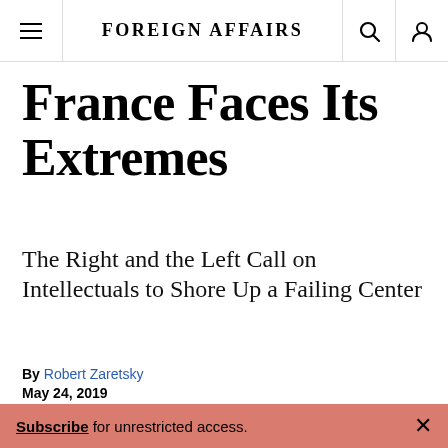FOREIGN AFFAIRS
France Faces Its Extremes
The Right and the Left Call on Intellectuals to Shore Up a Failing Center
By Robert Zaretsky
May 24, 2019
[Figure (photo): Audience crowd photo, people sitting in dark setting]
Subscribe for unrestricted access.